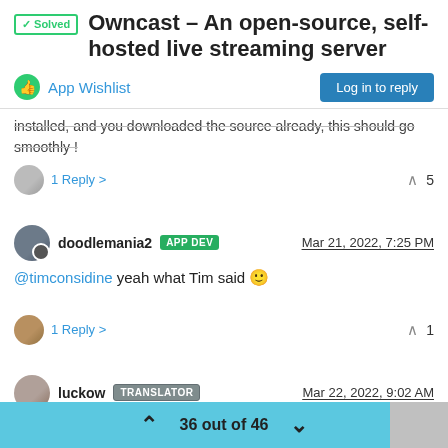✓ Solved  Owncast – An open-source, self-hosted live streaming server
App Wishlist
Log in to reply
installed, and you downloaded the source already, this should go smoothly !
1 Reply >   ^   5
doodlemania2  APP DEV   Mar 21, 2022, 7:25 PM
@timconsidine yeah what Tim said 🙂
1 Reply >   ^   1
luckow  TRANSLATOR   Mar 22, 2022, 9:02 AM
36 out of 46